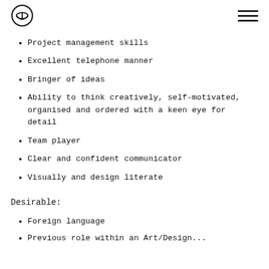[Logo + hamburger menu]
Project management skills
Excellent telephone manner
Bringer of ideas
Ability to think creatively, self-motivated, organised and ordered with a keen eye for detail
Team player
Clear and confident communicator
Visually and design literate
Desirable:
Foreign language
Previous role within an Art/Design...